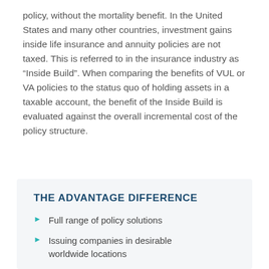policy, without the mortality benefit. In the United States and many other countries, investment gains inside life insurance and annuity policies are not taxed. This is referred to in the insurance industry as “Inside Build”. When comparing the benefits of VUL or VA policies to the status quo of holding assets in a taxable account, the benefit of the Inside Build is evaluated against the overall incremental cost of the policy structure.
THE ADVANTAGE DIFFERENCE
Full range of policy solutions
Issuing companies in desirable worldwide locations